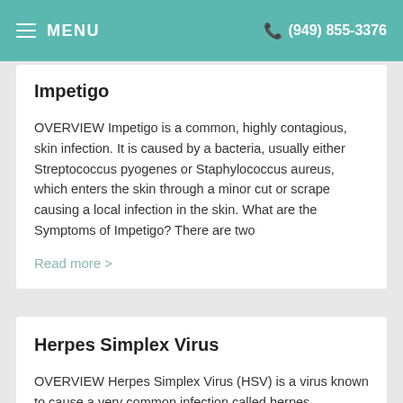MENU   (949) 855-3376
Impetigo
OVERVIEW Impetigo is a common, highly contagious, skin infection. It is caused by a bacteria, usually either Streptococcus pyogenes or Staphylococcus aureus, which enters the skin through a minor cut or scrape causing a local infection in the skin. What are the Symptoms of Impetigo? There are two
Read more >
Herpes Simplex Virus
OVERVIEW Herpes Simplex Virus (HSV) is a virus known to cause a very common infection called herpes. Oftentimes, the infection can be asymptomatic and go undetected.